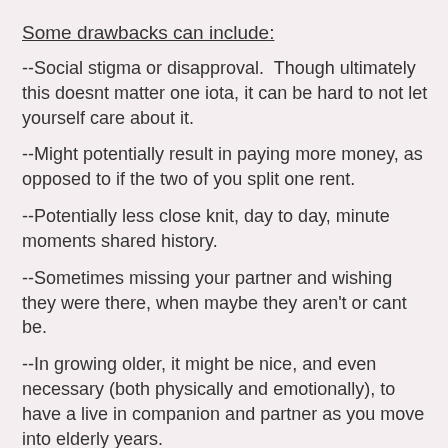Some drawbacks can include:
--Social stigma or disapproval.  Though ultimately this doesnt matter one iota, it can be hard to not let yourself care about it.
--Might potentially result in paying more money, as opposed to if the two of you split one rent.
--Potentially less close knit, day to day, minute moments shared history.
--Sometimes missing your partner and wishing they were there, when maybe they aren't or cant be.
--In growing older, it might be nice, and even necessary (both physically and emotionally), to have a live in companion and partner as you move into elderly years.
Any and all life situations, relationship styles, career choices, and experiences all have positives and drawbacks. Therefore, regardless of what "society says," there is no "right" choice or way to be here with regards to living with a partner or not.  Both options have great aspects, as well as